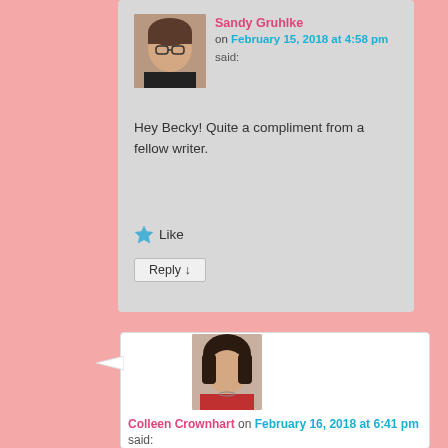Sandy Gruhlke on February 15, 2018 at 4:58 pm said:
Hey Becky! Quite a compliment from a fellow writer.
Like
Reply ↓
[Figure (photo): Avatar photo of Sandy Gruhlke, a woman with glasses]
Colleen Crownhart on February 16, 2018 at 6:41 pm said:
[Figure (photo): Avatar photo of Colleen Crownhart, a woman with dark hair wearing a red shirt]